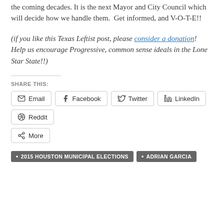the coming decades. It is the next Mayor and City Council which will decide how we handle them. Get informed, and V-O-T-E!!
(if you like this Texas Leftist post, please consider a donation! Help us encourage Progressive, common sense ideals in the Lone Star State!!)
SHARE THIS:
Email | Facebook | Twitter | LinkedIn | Reddit | More
• 2015 HOUSTON MUNICIPAL ELECTIONS • ADRIAN GARCIA